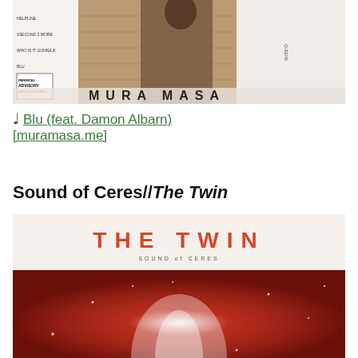[Figure (photo): Album cover of Mura Masa self-titled album showing a person in dark clothing on a brick/tile floor with track listing and Parental Advisory label visible, text reading MURA MASA at the bottom]
♩ Blu (feat. Damon Albarn) [muramasa.me]
Sound of Ceres//The Twin
[Figure (photo): Album cover of Sound of Ceres 'The Twin' showing THE TWIN text in orange/coral color at top with 'SOUND of CERES' subtitle, and below a dark red atmospheric image with white light burst/explosion effect and sparkles]